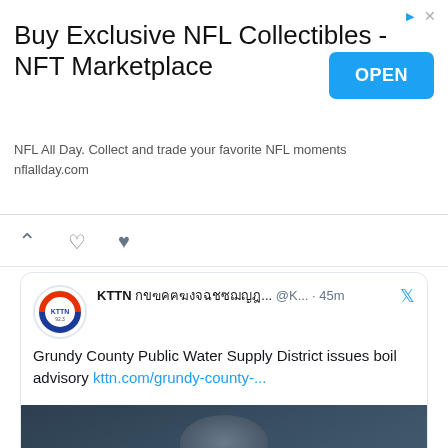[Figure (other): Advertisement banner for NFL All Day NFT Marketplace with OPEN button]
[Figure (screenshot): Tweet from KTTN 92.3 about Grundy County Public Water Supply District issuing boil advisory, with a 'BOIL WATER' image]
Upcoming Events
Aug 23   6:30 pm - 11:30 pm
Arizona Diamondbacks at Kansas City